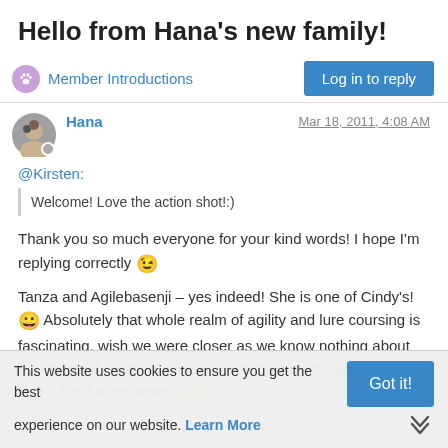Hello from Hana's new family!
Member Introductions
Log in to reply
Hana  Mar 18, 2011, 4:08 AM
@Kirsten:
Welcome! Love the action shot!:)
Thank you so much everyone for your kind words! I hope I'm replying correctly 😉
Tanza and Agilebasenji – yes indeed! She is one of Cindy's! 😀 Absolutely that whole realm of agility and lure coursing is fascinating. wish we were closer as we know nothing about it.... to me, if I were a basenji, THAT's what I'd want to do all day !! Too fun for words. 🙂
This website uses cookies to ensure you get the best experience on our website. Learn More